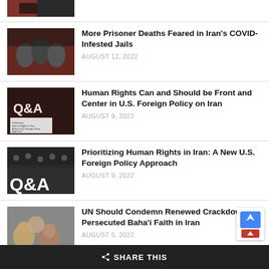[Figure (photo): Partial thumbnail of article at top of page, dark image cut off]
[Figure (photo): Thumbnail showing faces of prisoners against red background]
More Prisoner Deaths Feared in Iran's COVID-Infested Jails
AUGUST 12, 2022
[Figure (photo): Thumbnail showing Q&A text over dark background with document overlay]
Human Rights Can and Should be Front and Center in U.S. Foreign Policy on Iran
AUGUST 9, 2022
[Figure (photo): Thumbnail showing Q&A text over dark protest crowd background]
Prioritizing Human Rights in Iran: A New U.S. Foreign Policy Approach
AUGUST 9, 2022
[Figure (photo): Thumbnail showing faces of people including a man and a woman]
UN Should Condemn Renewed Crackdown on Persecuted Baha'i Faith in Iran
AUGUST 5, 2022
SHARE THIS